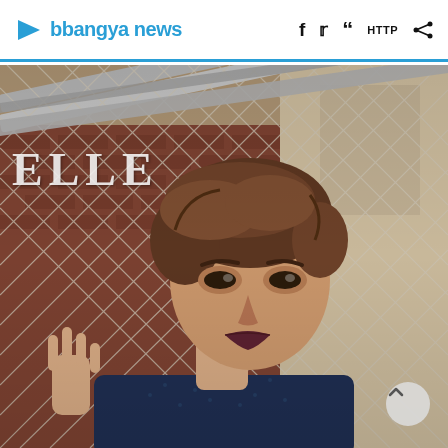bbangya news
[Figure (photo): Magazine editorial photo of a young Asian male model leaning against a diamond-pattern metal wire fence with brick wall background. He has brown tousled hair, dark lips, and wears a dark navy/teal textured knit jacket. The ELLE magazine logo appears in the upper left of the image. A scroll-up arrow button is visible in the lower right corner.]